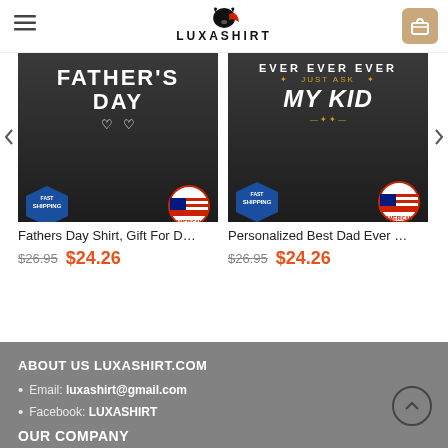[Figure (logo): Luxashirt logo with dog wearing cape icon and bold text LUXASHIRT]
[Figure (photo): Product photo: black t-shirt with FATHER'S DAY text, fast shipping and American made badges]
Fathers Day Shirt, Gift For D…
$26.95  $24.26
[Figure (photo): Product photo: black t-shirt with EVER EVER EVER JUST ASK MY KID text, fast shipping and American made badges]
Personalized Best Dad Ever …
$26.95  $24.26
ABOUT US LUXASHIRT.COM
Email: luxashirt@gmail.com
Facebook: LUXASHIRT
OUR COMPANY